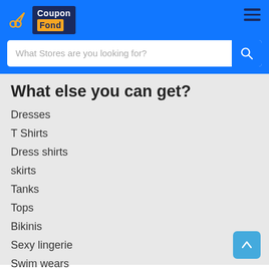[Figure (logo): CouponFond logo with scissors icon and blue/orange design]
What Stores are you looking for?
What else you can get?
Dresses
T Shirts
Dress shirts
skirts
Tanks
Tops
Bikinis
Sexy lingerie
Swim wears
Sandals and other accessories